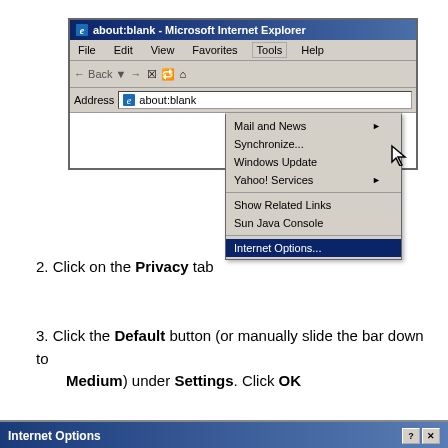[Figure (screenshot): Microsoft Internet Explorer browser window showing the Tools menu open with 'Internet Options...' highlighted. Menu items shown: Mail and News (with submenu arrow), Synchronize..., Windows Update, Yahoo! Services (with submenu arrow), Show Related Links, Sun Java Console, Internet Options... (highlighted in blue). The address bar shows 'about:blank'. A mouse cursor is visible near the Internet Options menu item.]
2. Click on the Privacy tab
3. Click the Default button (or manually slide the bar down to Medium) under Settings. Click OK
[Figure (screenshot): Bottom portion of Internet Options dialog box title bar, showing 'Internet Options' text with ? and X buttons in the top right corner.]